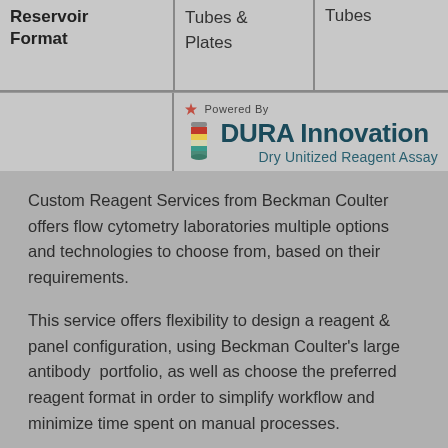| Reservoir Format | Tubes & Plates | Tubes |
| --- | --- | --- |
|  | DURA Innovation – Dry Unitized Reagent Assay |  |
Custom Reagent Services from Beckman Coulter offers flow cytometry laboratories multiple options and technologies to choose from, based on their requirements.
This service offers flexibility to design a reagent & panel configuration, using Beckman Coulter's large antibody  portfolio, as well as choose the preferred reagent format in order to simplify workflow and minimize time spent on manual processes.